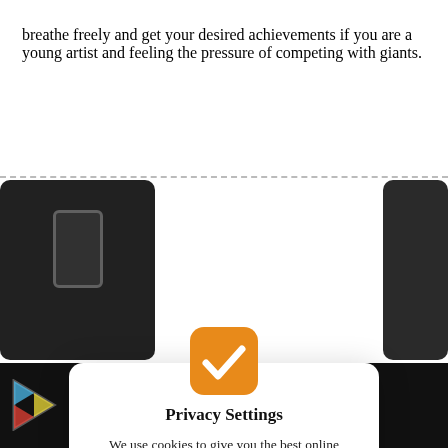breathe freely and get your desired achievements if you are a young artist and feeling the pressure of competing with giants.
[Figure (screenshot): Privacy Settings modal dialog overlaid on a dark background with app store imagery. Modal contains an orange checkmark icon, title 'Privacy Settings', body text about cookies, terms and conditions link, and an 'I Agree' button.]